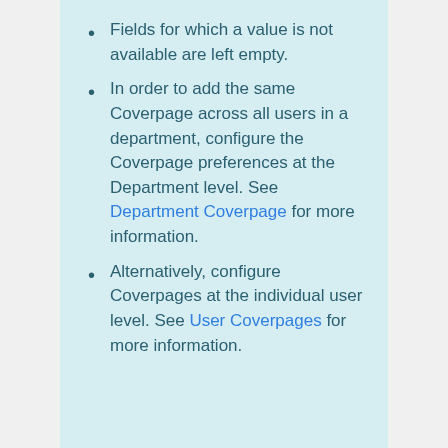Fields for which a value is not available are left empty.
In order to add the same Coverpage across all users in a department, configure the Coverpage preferences at the Department level. See Department Coverpage for more information.
Alternatively, configure Coverpages at the individual user level. See User Coverpages for more information.